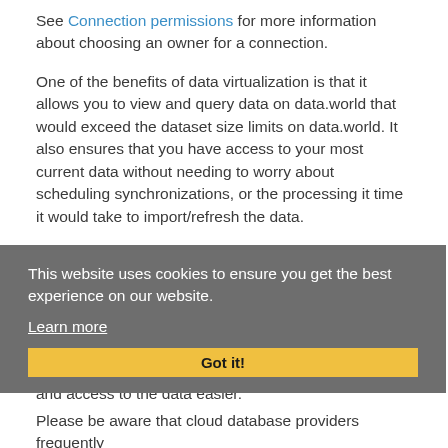See Connection permissions for more information about choosing an owner for a connection.
One of the benefits of data virtualization is that it allows you to view and query data on data.world that would exceed the dataset size limits on data.world. It also ensures that you have access to your most current data without needing to worry about scheduling synchronizations, or the processing it time it would take to import/refresh the data.
When you query a live table using data.world, our system will send the SQL query you provide directly into the ISC backend system. That system will then execute the query on its own hardware and return the results to data.world for display. Another benefit of virtualization is that it makes managing permissions and access to the data easier.
This website uses cookies to ensure you get the best experience on our website.
Learn more
Got it!
Please be aware that cloud database providers frequently